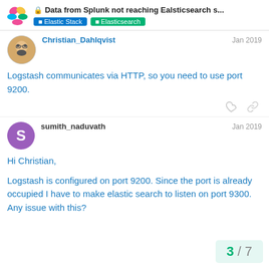Data from Splunk not reaching Ealsticsearch s... | Elastic Stack | Elasticsearch
Christian_Dahlqvist   Jan 2019
Logstash communicates via HTTP, so you need to use port 9200.
sumith_naduvath   Jan 2019
Hi Christian,

Logstash is configured on port 9200. Since the port is already occupied I have to make elastic search to listen on port 9300. Any issue with this?
3 / 7